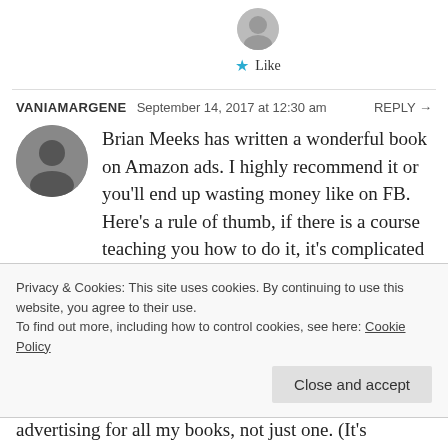[Figure (photo): Small circular avatar photo of a person at the top, partially visible]
★ Like
VANIAMARGENE   September 14, 2017 at 12:30 am   REPLY →
[Figure (photo): Circular black and white avatar photo of a woman]
Brian Meeks has written a wonderful book on Amazon ads. I highly recommend it or you'll end up wasting money like on FB. Here's a rule of thumb, if there is a course teaching you how to do it, it's complicated and you need to do your research. Mark Dawson teaches you how to use FB ads, so obviously
Privacy & Cookies: This site uses cookies. By continuing to use this website, you agree to their use.
To find out more, including how to control cookies, see here: Cookie Policy
Close and accept
advertising for all my books, not just one. (It's